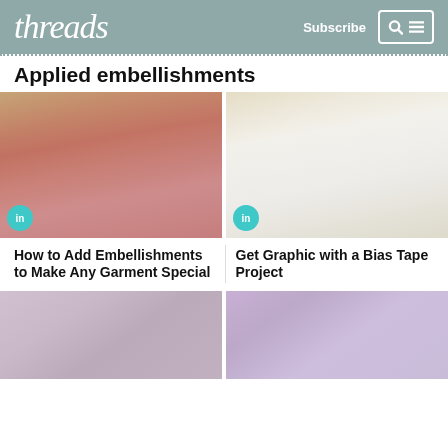threads   Subscribe
Applied embellishments
[Figure (photo): Woman wearing pink sleeveless top with decorative front detail, sitting in wicker chair]
[Figure (photo): White cardigan with graphic bias tape trim in pink, black, yellow and teal]
How to Add Embellishments to Make Any Garment Special
Get Graphic with a Bias Tape Project
[Figure (photo): Close-up of lavender tweed jacket front with pearl and braided trim]
[Figure (photo): Close-up of lavender knit top with beaded neckline trim]